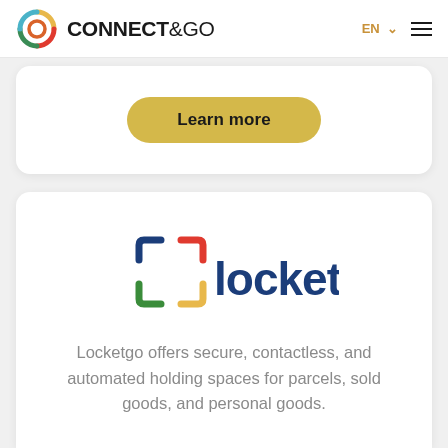CONNECT&GO  EN  ☰
[Figure (logo): Connect&Go logo with colorful circular swirl icon and bold CONNECT&GO text]
Learn more
[Figure (logo): Locketgo logo with colored bracket corners (red top-right, blue top-left, green bottom-left, yellow bottom-right) and dark blue locketgo wordmark]
Locketgo offers secure, contactless, and automated holding spaces for parcels, sold goods, and personal goods.